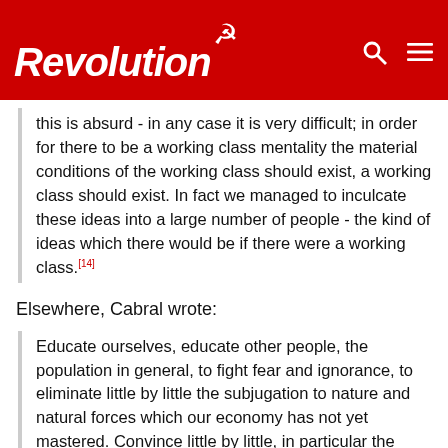Revolution
this is absurd - in any case it is very difficult; in order for there to be a working class mentality the material conditions of the working class should exist, a working class should exist. In fact we managed to inculcate these ideas into a large number of people - the kind of ideas which there would be if there were a working class.[14]
Elsewhere, Cabral wrote:
Educate ourselves, educate other people, the population in general, to fight fear and ignorance, to eliminate little by little the subjugation to nature and natural forces which our economy has not yet mastered. Convince little by little, in particular the militants of the Party, that we shall end by conquering the fear of nature, and that man is the